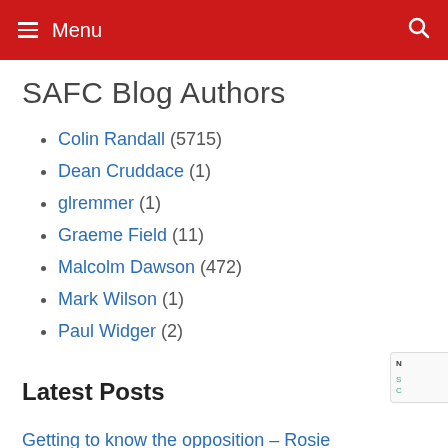Menu
SAFC Blog Authors
Colin Randall (5715)
Dean Cruddace (1)
glremmer (1)
Graeme Field (11)
Malcolm Dawson (472)
Mark Wilson (1)
Paul Widger (2)
Latest Posts
Getting to know the opposition – Rosie